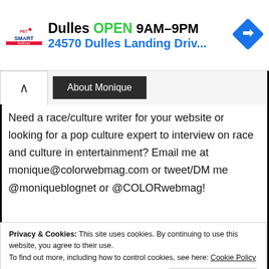[Figure (other): PetSmart advertisement banner showing store is OPEN 9AM-9PM at 24570 Dulles Landing Driv... with logo and navigation arrow icon]
About Monique
Need a race/culture writer for your website or looking for a pop culture expert to interview on race and culture in entertainment? Email me at monique@colorwebmag.com or tweet/DM me @moniqueblognet or @COLORwebmag!
[Figure (photo): Partial image with cyan/teal background showing a circular pink-bordered profile photo]
Privacy & Cookies: This site uses cookies. By continuing to use this website, you agree to their use.
To find out more, including how to control cookies, see here: Cookie Policy
Close and accept